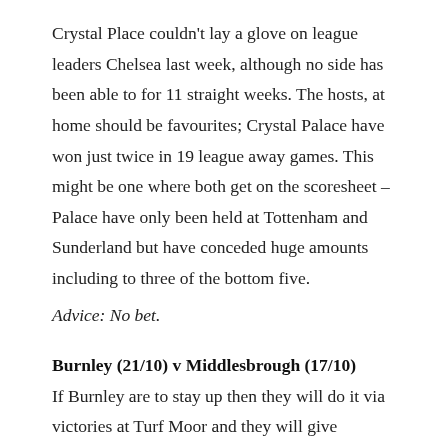Crystal Place couldn't lay a glove on league leaders Chelsea last week, although no side has been able to for 11 straight weeks. The hosts, at home should be favourites; Crystal Palace have won just twice in 19 league away games. This might be one where both get on the scoresheet – Palace have only been held at Tottenham and Sunderland but have conceded huge amounts including to three of the bottom five.
Advice: No bet.
Burnley (21/10) v Middlesbrough (17/10)
If Burnley are to stay up then they will do it via victories at Turf Moor and they will give Middlesbrough plenty of problems. They have claimed all but one of their 17-point tally and 14 of their 16 goals at Turf Moor and they were unlucky not to take something in one goal defeats at West